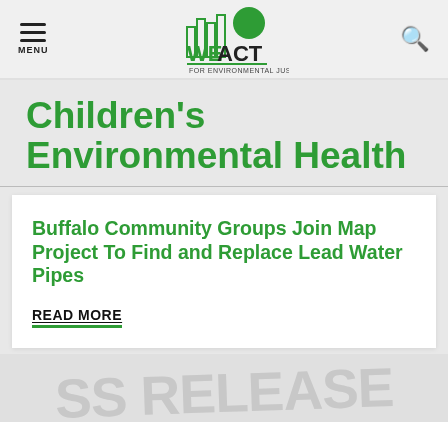MENU | WE ACT FOR ENVIRONMENTAL JUSTICE (logo) | search
Children's Environmental Health
Buffalo Community Groups Join Map Project To Find and Replace Lead Water Pipes
READ MORE
[Figure (photo): Partial view of a press release document showing large text 'PRESS RELEASE']